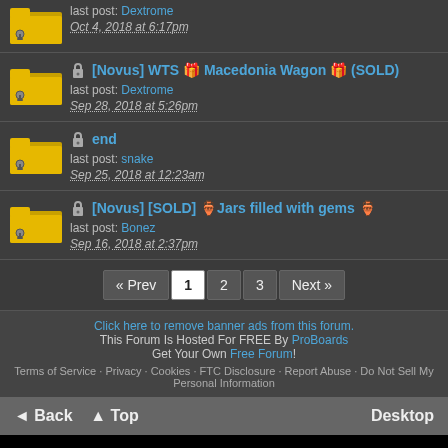last post: Dextrome
Oct 4, 2018 at 6:17pm
[Novus] WTS 🎁 Macedonia Wagon 🎁 (SOLD)
last post: Dextrome
Sep 28, 2018 at 5:26pm
end
last post: snake
Sep 25, 2018 at 12:23am
[Novus] [SOLD] 🏺Jars filled with gems 🏺
last post: Bonez
Sep 16, 2018 at 2:37pm
« Prev 1 2 3 Next »
Click here to remove banner ads from this forum.
This Forum Is Hosted For FREE By ProBoards
Get Your Own Free Forum!
Terms of Service · Privacy · Cookies · FTC Disclosure · Report Abuse · Do Not Sell My Personal Information
◄ Back ▲ Top Desktop